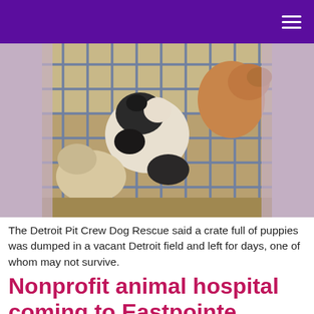[Figure (photo): Photo of several puppies crowded together inside a wire crate/cage, brown and black-and-white colored dogs visible through the metal bars.]
The Detroit Pit Crew Dog Rescue said a crate full of puppies was dumped in a vacant Detroit field and left for days, one of whom may not survive.
Nonprofit animal hospital coming to Eastpointe